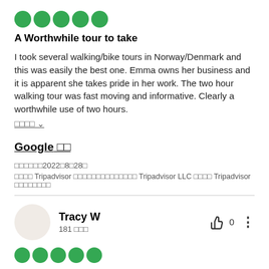[Figure (other): 5 green filled circles representing a 5-star rating]
A Worthwhile tour to take
I took several walking/bike tours in Norway/Denmark and this was easily the best one. Emma owns her business and it is apparent she takes pride in her work. The two hour walking tour was fast moving and informative. Clearly a worthwhile use of two hours.
□□□□ ∨
Google □□
□□□□□□2022□8□28□
□□□□ Tripadvisor □□□□□□□□□□□□□□ Tripadvisor LLC □□□□ Tripadvisor □□□□□□□□
Tracy W
181 □□□
[Figure (other): 5 green filled circles representing a 5-star rating]